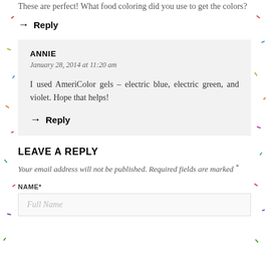These are perfect! What food coloring did you use to get the colors?
→ Reply
ANNIE
January 28, 2014 at 11:20 am
I used AmeriColor gels – electric blue, electric green, and violet. Hope that helps!
→ Reply
LEAVE A REPLY
Your email address will not be published. Required fields are marked *
NAME*
Full Name